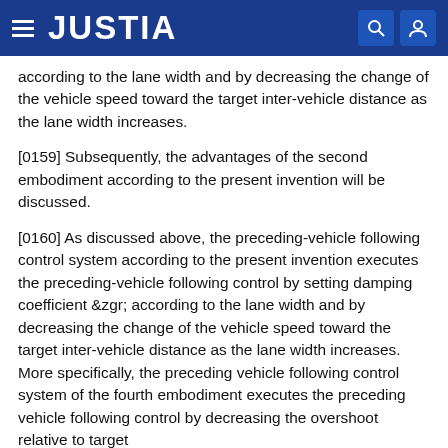JUSTIA
according to the lane width and by decreasing the change of the vehicle speed toward the target inter-vehicle distance as the lane width increases.
[0159] Subsequently, the advantages of the second embodiment according to the present invention will be discussed.
[0160] As discussed above, the preceding-vehicle following control system according to the present invention executes the preceding-vehicle following control by setting damping coefficient &zgr; according to the lane width and by decreasing the change of the vehicle speed toward the target inter-vehicle distance as the lane width increases. More specifically, the preceding vehicle following control system of the fourth embodiment executes the preceding vehicle following control by decreasing the overshoot relative to target